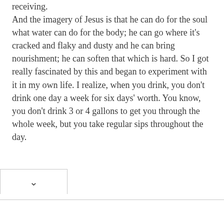receiving.
And the imagery of Jesus is that he can do for the soul what water can do for the body; he can go where it's cracked and flaky and dusty and he can bring nourishment; he can soften that which is hard. So I got really fascinated by this and began to experiment with it in my own life. I realize, when you drink, you don't drink one day a week for six days' worth. You know, you don't drink 3 or 4 gallons to get you through the whole week, but you take regular sips throughout the day.
advertisement – feature continues below